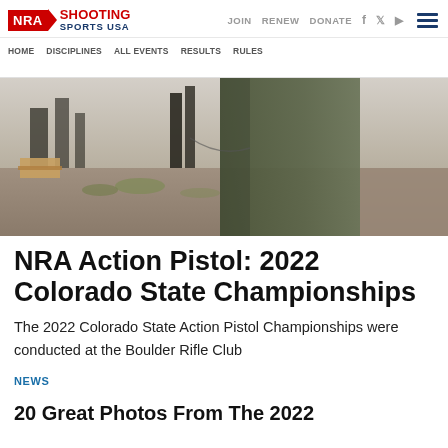NRA SHOOTING SPORTS USA — Navigation header with JOIN, RENEW, DONATE links and hamburger menu
[Figure (photo): Outdoor shooting range scene showing a person in olive/green clothing, with shooting range equipment and gravel ground visible in background]
NRA Action Pistol: 2022 Colorado State Championships
The 2022 Colorado State Action Pistol Championships were conducted at the Boulder Rifle Club
NEWS
20 Great Photos From The 2022